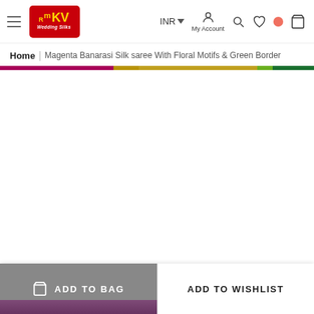RmKV Wedding Silks — INR | My Account | Search | Wishlist | Cart
Home | Magenta Banarasi Silk saree With Floral Motifs & Green Border
[Figure (illustration): Decorative horizontal stripe in magenta, gold and green colors representing saree border motif]
[Figure (photo): Product image area (blank/loading) for Magenta Banarasi Silk saree]
ADD TO BAG
ADD TO WISHLIST